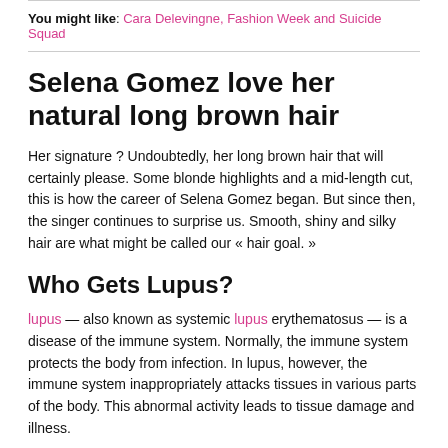You might like: Cara Delevingne, Fashion Week and Suicide Squad
Selena Gomez love her natural long brown hair
Her signature ? Undoubtedly, her long brown hair that will certainly please. Some blonde highlights and a mid-length cut, this is how the career of Selena Gomez began. But since then, the singer continues to surprise us. Smooth, shiny and silky hair are what might be called our « hair goal. »
Who Gets Lupus?
lupus — also known as systemic lupus erythematosus — is a disease of the immune system. Normally, the immune system protects the body from infection. In lupus, however, the immune system inappropriately attacks tissues in various parts of the body. This abnormal activity leads to tissue damage and illness.
According to the Lupus Foundation of America, approximately 1.5 million people in the U.S. have lupus. People of African, Asian, and Native American descent are more likely to develop lupus than are Caucasians. Although it can